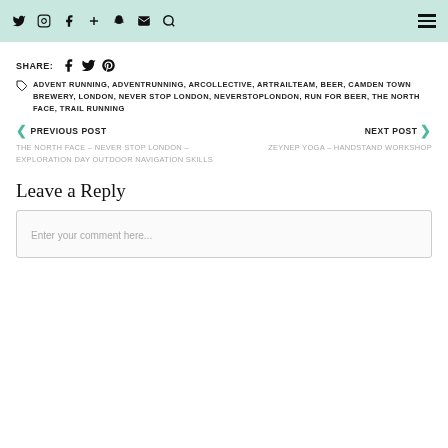Navigation icons: twitter, instagram, facebook, plus, snapchat, mail, search, hamburger menu
SHARE:
ADVENT RUNNING, ADVENTRUNNING, ARCOLLECTIVE, ARTRAILTEAM, BEER, CAMDEN TOWN BREWERY, LONDON, NEVER STOP LONDON, NEVERSTOPLONDON, RUN FOR BEER, THE NORTH FACE, TRAIL RUNNING
PREVIOUS POST - THE NORTH FACE – NEVER STOP LONDON – EXPLORATION DAY OUTDOOR NAVIGATION SKILLS
NEXT POST - ZEYNEP YOGA – HANDSTAND WORKSHOP
Leave a Reply
Enter your comment here...